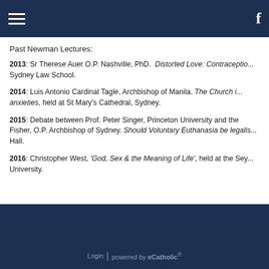Navigation bar with hamburger menu and Facebook icon
Past Newman Lectures:
2013: Sr Therese Auer O.P. Nashville, PhD. Distorted Love: Contraception... Sydney Law School.
2014: Luis Antonio Cardinal Tagle, Archbishop of Manila. The Church in anxieties, held at St Mary's Cathedral, Sydney.
2015: Debate between Prof. Peter Singer, Princeton University and the Fisher, O.P. Archbishop of Sydney. Should Voluntary Euthanasia be legalised... Hall.
2016: Christopher West, 'God, Sex & the Meaning of Life', held at the Sey... University.
Login | powered by eCatholic®